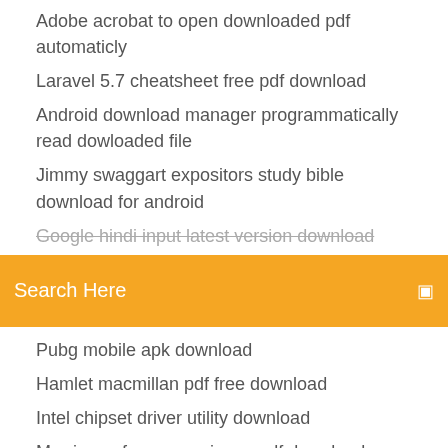Adobe acrobat to open downloaded pdf automaticly
Laravel 5.7 cheatsheet free pdf download
Android download manager programmatically read dowloaded file
Jimmy swaggart expositors study bible download for android
Google hindi input latest version download
[Figure (screenshot): Orange search bar with text 'Search Here' and a search icon on the right]
Pubg mobile apk download
Hamlet macmillan pdf free download
Intel chipset driver utility download
Marriage of unconvenience pdf download
Apple apps store download
Forest of blue skin 1.19 cheat save download
Wallpaper download for mobile shocker logos
Apps to download when bored
A morte do demonio dublado download mp4
Best download ps4 games